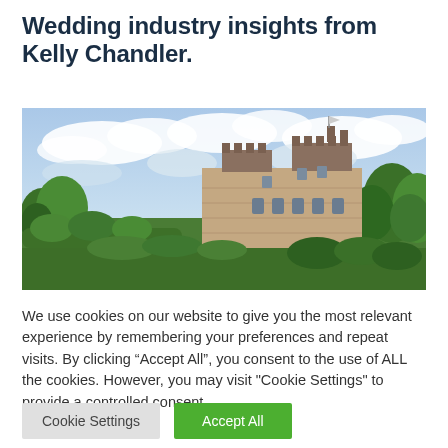Wedding industry insights from Kelly Chandler.
[Figure (photo): Panoramic photo of a Scottish castle with stone architecture, surrounded by lush green trees and hedges under a partly cloudy sky.]
We use cookies on our website to give you the most relevant experience by remembering your preferences and repeat visits. By clicking “Accept All”, you consent to the use of ALL the cookies. However, you may visit "Cookie Settings" to provide a controlled consent.
Cookie Settings
Accept All